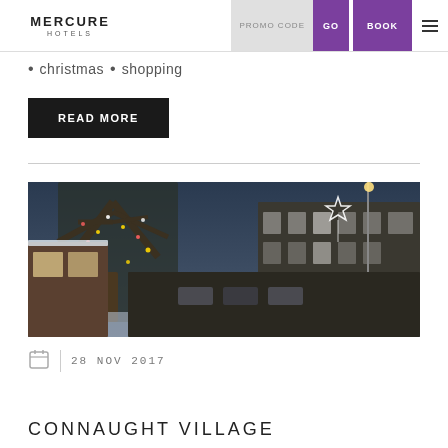MERCURE HOTELS | PROMO CODE | GO | BOOK
• christmas • shopping
READ MORE
[Figure (photo): A snow-dusted London street at dusk with Christmas lights on trees and a star decoration, Georgian townhouses in the background]
28 NOV 2017
CONNAUGHT VILLAGE